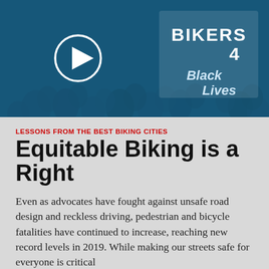[Figure (photo): A blue-tinted photo of a crowd at a biking protest/rally. A large play button icon is overlaid on the left side. On the right, a protest sign reads 'BIKERS 4 Black Lives'.]
LESSONS FROM THE BEST BIKING CITIES
Equitable Biking is a Right
Even as advocates have fought against unsafe road design and reckless driving, pedestrian and bicycle fatalities have continued to increase, reaching new record levels in 2019. While making our streets safe for everyone is critical